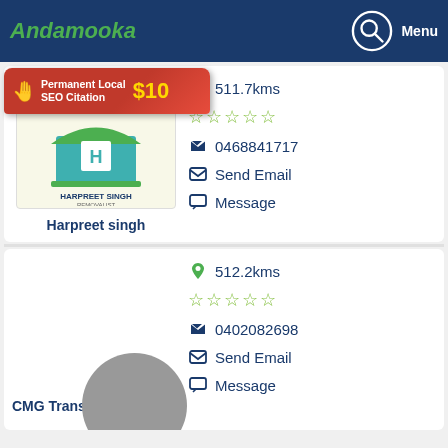Andamooka | Menu
[Figure (screenshot): Business listing for Harpreet Singh Removalist showing logo, distance 511.7kms, 5 star rating outline, phone 0468841717, Send Email, Message options with SEO citation banner]
Harpreet singh
[Figure (screenshot): Business listing for CMG Transport Pty Ltd showing distance 512.2kms, 5 star rating outline, phone 0402082698, Send Email, Message options]
CMG Transport Pty Ltd